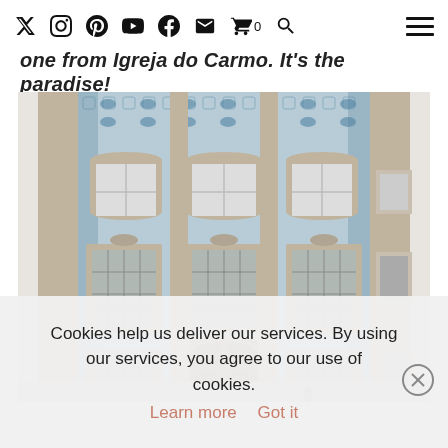Social media navigation icons and hamburger menu
one from Igreja do Carmo. It's the paradise!
[Figure (photo): Photograph of a Portuguese church facade (Igreja do Carmo or similar) covered in blue and white azulejo tiles, with ornate baroque stone window frames and a central wooden door.]
Cookies help us deliver our services. By using our services, you agree to our use of cookies. Learn more   Got it